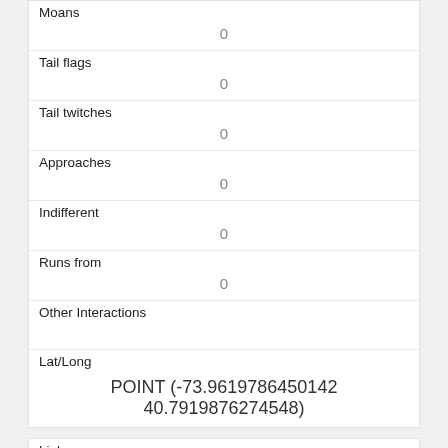| Moans | 0 |
| Tail flags | 0 |
| Tail twitches | 0 |
| Approaches | 0 |
| Indifferent | 0 |
| Runs from | 0 |
| Other Interactions |  |
| Lat/Long | POINT (-73.9619786450142 40.7919876274548) |
| Link | 2492 |
| rowid | 2492 |